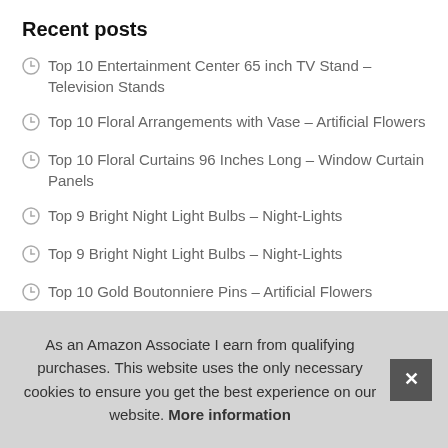Recent posts
Top 10 Entertainment Center 65 inch TV Stand – Television Stands
Top 10 Floral Arrangements with Vase – Artificial Flowers
Top 10 Floral Curtains 96 Inches Long – Window Curtain Panels
Top 9 Bright Night Light Bulbs – Night-Lights
Top 9 Bright Night Light Bulbs – Night-Lights
Top 10 Gold Boutonniere Pins – Artificial Flowers
Top 10 Gold Boutonniere Pins – Artificial Flowers (partially visible)
As an Amazon Associate I earn from qualifying purchases. This website uses the only necessary cookies to ensure you get the best experience on our website. More information